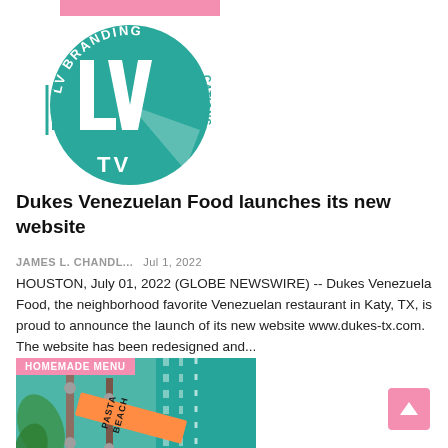[Figure (logo): LV Branding TV logo — teal circular emblem with stylized LV letters and 'CATIONS' text, with pink banner at top]
Dukes Venezuelan Food launches its new website
JAMES L. CHANDL...   Jul 1, 2022
HOUSTON, July 01, 2022 (GLOBE NEWSWIRE) -- Dukes Venezuela Food, the neighborhood favorite Venezuelan restaurant in Katy, TX, is proud to announce the launch of its new website www.dukes-tx.com. The website has been redesigned and...
[Figure (photo): Photo of restaurant menu holders/display stands with 'PASTA BEACH' label visible, featuring a pink 'HOMEMADE MENU' tag overlay in the top left corner]